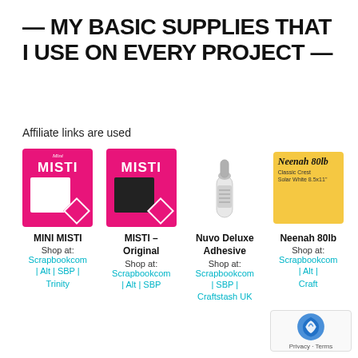— MY BASIC SUPPLIES THAT I USE ON EVERY PROJECT —
Affiliate links are used
[Figure (photo): Mini MISTI stamp positioner product box (pink)]
[Figure (photo): MISTI Original stamp positioner product box (pink and black)]
[Figure (photo): Nuvo Deluxe Adhesive white bottle]
[Figure (photo): Neenah 80lb Classic Crest Solar White paper box (yellow)]
MINI MISTI
Shop at:
Scrapbookcom
| Alt | SBP |
Trinity
MISTI –
Original
Shop at:
Scrapbookcom
| Alt | SBP
Nuvo Deluxe
Adhesive
Shop at:
Scrapbookcom
| SBP |
Craftstash UK
Neenah 80lb
Shop at:
Scrapbookcom
| Alt |
Craft